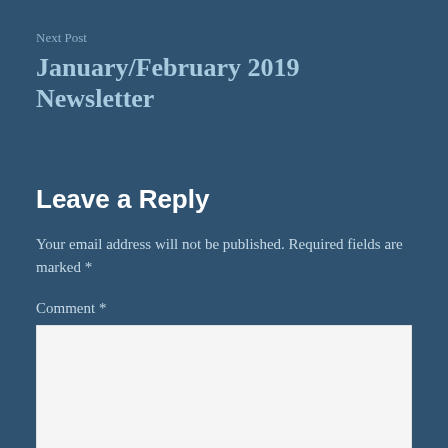Next Post
January/February 2019 Newsletter
Leave a Reply
Your email address will not be published. Required fields are marked *
Comment *